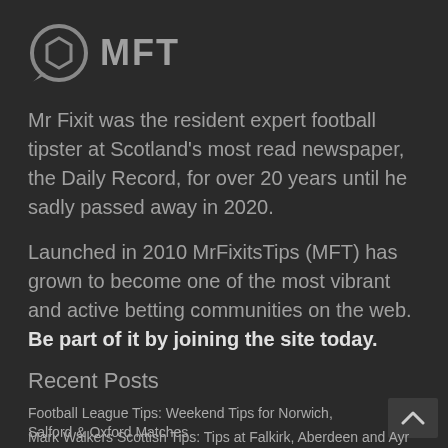[Figure (logo): MFT logo: circular icon with hexagon in center and speech-bubble tail, followed by bold text MFT]
Mr Fixit was the resident expert football tipster at Scotland's most read newspaper, the Daily Record, for over 20 years until he sadly passed away in 2020.
Launched in 2010 MrFixitsTips (MFT) has grown to become one of the most vibrant and active betting communities on the web. Be part of it by joining the site today.
Recent Posts
Football League Tips: Weekend Tips for Norwich, Salford & Oxford Matches
Mark Walkers Scottish Tips: Tips at Falkirk, Aberdeen and Ayr
Manchester United vs Arsenal Prediction and Betting Tips